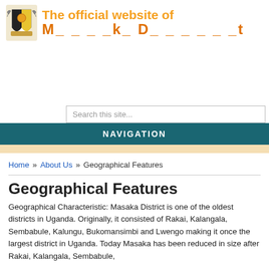The official website of Masaka District
Search this site...
NAVIGATION
Home » About Us » Geographical Features
Geographical Features
Geographical Characteristic: Masaka District is one of the oldest districts in Uganda. Originally, it consisted of Rakai, Kalangala, Sembabule, Kalungu, Bukomansimbi and Lwengo making it once the largest district in Uganda. Today Masaka has been reduced in size after Rakai, Kalangala, Sembabule,